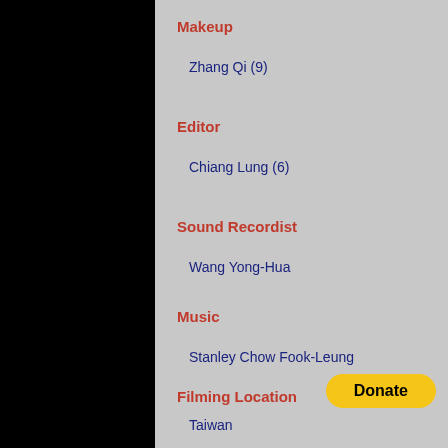Makeup
Zhang Qi (9)
Editor
Chiang Lung (6)
Sound Recordist
Wang Yong-Hua
Music
Stanley Chow Fook-Leung
Filming Location
Taiwan
[Figure (other): Donate button (PayPal-style yellow rounded button)]